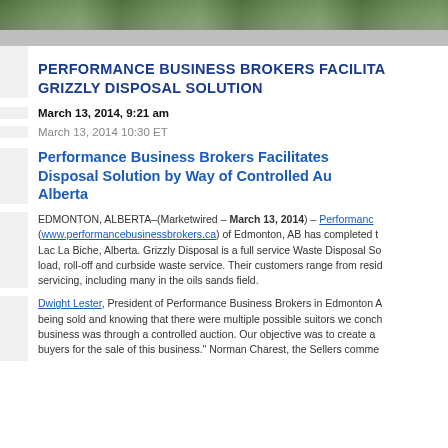[Figure (photo): Landscape/nature banner photo at top of page]
PERFORMANCE BUSINESS BROKERS FACILITA... GRIZZLY DISPOSAL SOLUTION
March 13, 2014, 9:21 am
March 13, 2014 10:30 ET
Performance Business Brokers Facilitates... Disposal Solution by Way of Controlled Au... Alberta
EDMONTON, ALBERTA–(Marketwired – March 13, 2014) – Performanc... (www.performancebusinessbrokers.ca) of Edmonton, AB has completed t... Lac La Biche, Alberta. Grizzly Disposal is a full service Waste Disposal So... load, roll-off and curbside waste service. Their customers range from resid... servicing, including many in the oils sands field.
Dwight Lester, President of Performance Business Brokers in Edmonton A... being sold and knowing that there were multiple possible suitors we conch... business was through a controlled auction. Our objective was to create a... buyers for the sale of this business." Norman Charest, the Sellers comme...